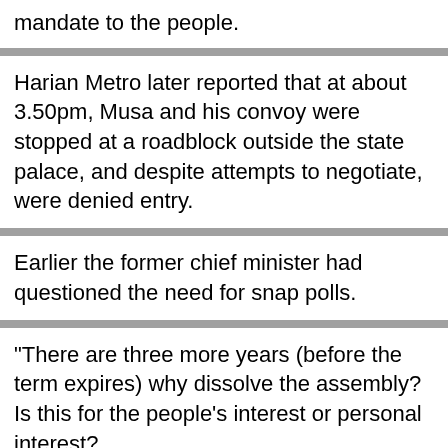mandate to the people.
Harian Metro later reported that at about 3.50pm, Musa and his convoy were stopped at a roadblock outside the state palace, and despite attempts to negotiate, were denied entry.
Earlier the former chief minister had questioned the need for snap polls.
"There are three more years (before the term expires) why dissolve the assembly? Is this for the people's interest or personal interest?
"If it's the people's interest, there is no need for fresh polls. This is wasting time and money...